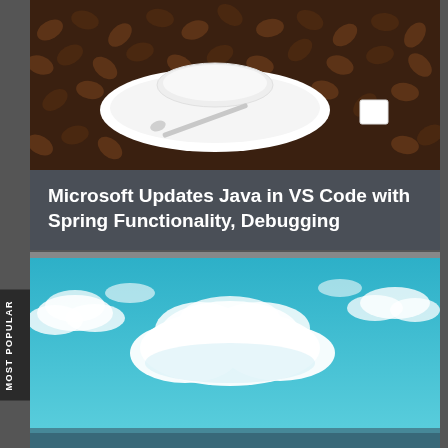[Figure (photo): A white saucer and cup surrounded by coffee beans and a sugar cube on a brown background]
Microsoft Updates Java in VS Code with Spring Functionality, Debugging
[Figure (photo): A blue sky with white fluffy clouds]
MOST POPULAR